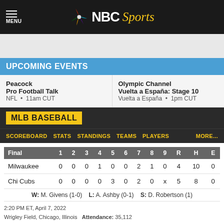NBC Sports
UPCOMING EVENTS
Peacock
Pro Football Talk
NFL • 11am CUT
Olympic Channel
Vuelta a España: Stage 10
Vuelta a España • 1pm CUT
MLB BASEBALL
SCOREBOARD  STATS  STANDINGS  TEAMS  PLAYERS  MORE...
| Final | 1 | 2 | 3 | 4 | 5 | 6 | 7 | 8 | 9 | R | H | E |
| --- | --- | --- | --- | --- | --- | --- | --- | --- | --- | --- | --- | --- |
| Milwaukee | 0 | 0 | 0 | 1 | 0 | 0 | 2 | 1 | 0 | 4 | 10 | 0 |
| Chi Cubs | 0 | 0 | 0 | 0 | 3 | 0 | 2 | 0 | x | 5 | 8 | 0 |
W: M. Givens (1-0)  L: A. Ashby (0-1)  S: D. Robertson (1)
2:20 PM ET, April 7, 2022
Wrigley Field, Chicago, Illinois  Attendance: 35,112